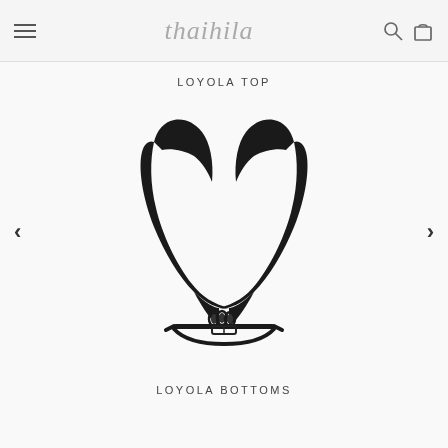thaihila (logo with hamburger menu, search, and cart icons)
LOYOLA TOP
[Figure (photo): A black bikini top (triangle style) with adjustable back closure and straps, shown on a white/light background. The top has two triangular cups with shoulder straps angled upward and a band at the bottom with ring hardware and an adjuster clasp.]
LOYOLA BOTTOMS